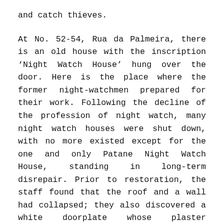and catch thieves.
At No. 52-54, Rua da Palmeira, there is an old house with the inscription ‘Night Watch House’ hung over the door. Here is the place where the former night-watchmen prepared for their work. Following the decline of the profession of night watch, many night watch houses were shut down, with no more existed except for the one and only Patane Night Watch House, standing in long-term disrepair. Prior to restoration, the staff found that the roof and a wall had collapsed; they also discovered a white doorplate whose plaster characters had peeled off because of the contamination with modern emulsion paint. The Night Watch House at that time was in great need of repair.
The restoration practitioners first repaired the